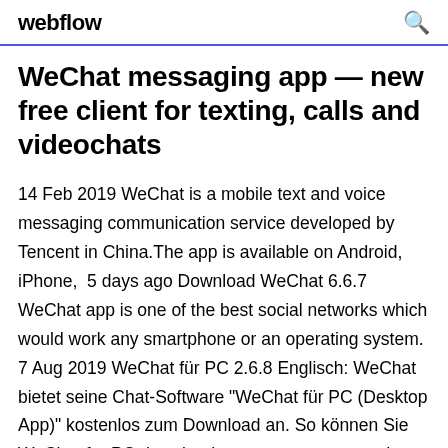webflow
WeChat messaging app — new free client for texting, calls and videochats
14 Feb 2019 WeChat is a mobile text and voice messaging communication service developed by Tencent in China.The app is available on Android, iPhone,  5 days ago Download WeChat 6.6.7 WeChat app is one of the best social networks which would work any smartphone or an operating system. 7 Aug 2019 WeChat für PC 2.6.8 Englisch: WeChat bietet seine Chat-Software "WeChat für PC (Desktop App)" kostenlos zum Download an. So können Sie WeChat for PC download on your computer and